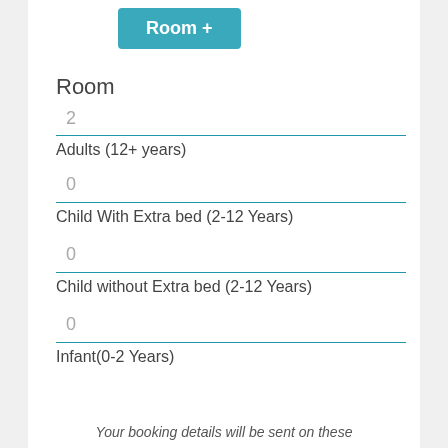Room +
Room
2
Adults (12+ years)
0
Child With Extra bed (2-12 Years)
0
Child without Extra bed (2-12 Years)
0
Infant(0-2 Years)
Your booking details will be sent on these